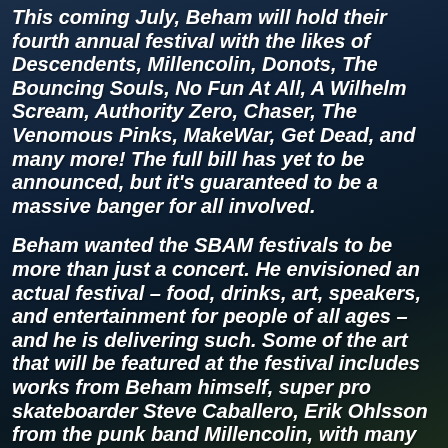This coming July, Beham will hold their fourth annual festival with the likes of Descendents, Millencolin, Donots, The Bouncing Souls, No Fun At All, A Wilhelm Scream, Authority Zero, Chaser, The Venomous Pinks, MakeWar, Get Dead, and many more! The full bill has yet to be announced, but it's guaranteed to be a massive banger for all involved.
Beham wanted the SBAM festivals to be more than just a concert. He envisioned an actual festival – food, drinks, art, speakers, and entertainment for people of all ages – and he is delivering such. Some of the art that will be featured at the festival includes works from Beham himself, super pro skateboarder Steve Caballero, Erik Ohlsson from the punk band Millencolin, with many more to be added.